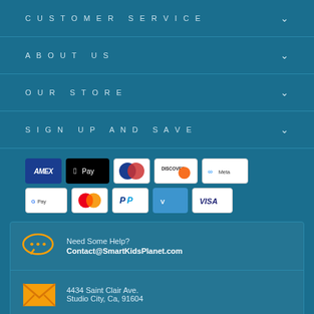CUSTOMER SERVICE
ABOUT US
OUR STORE
SIGN UP AND SAVE
[Figure (other): Payment method icons: American Express, Apple Pay, Diners Club, Discover, Meta Pay, Google Pay, Mastercard, PayPal, Venmo, Visa]
Need Some Help?
Contact@SmartKidsPlanet.com
4434 Saint Clair Ave.
Studio City, Ca, 91604